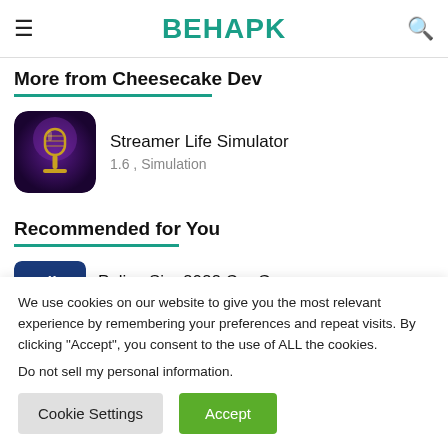BEHAPK
More from Cheesecake Dev
[Figure (illustration): App icon for Streamer Life Simulator: dark purple background with golden vintage microphone]
Streamer Life Simulator
1.6 , Simulation
Recommended for You
[Figure (logo): Police badge logo icon in dark blue]
Police Sim 2022 Car Games
We use cookies on our website to give you the most relevant experience by remembering your preferences and repeat visits. By clicking “Accept”, you consent to the use of ALL the cookies.
Do not sell my personal information.
Cookie Settings  Accept